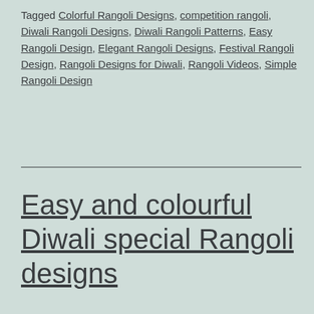Tagged Colorful Rangoli Designs, competition rangoli, Diwali Rangoli Designs, Diwali Rangoli Patterns, Easy Rangoli Design, Elegant Rangoli Designs, Festival Rangoli Design, Rangoli Designs for Diwali, Rangoli Videos, Simple Rangoli Design
Easy and colourful Diwali special Rangoli designs